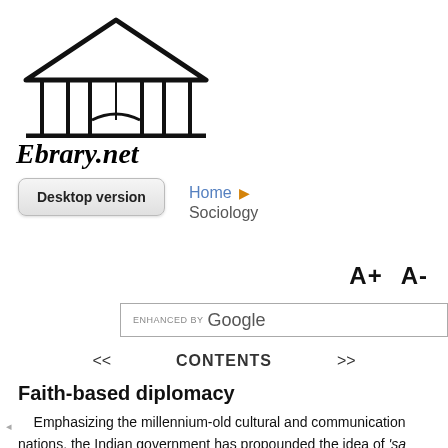[Figure (logo): Ebrary.net library logo: building with columns and open book, with cursive brand name 'Ebrary.net' below]
Desktop version
Home ▶ Sociology
A+  A-
ENHANCED BY Google
<<   CONTENTS   >>
Faith-based diplomacy
Emphasizing the millennium-old cultural and communication nations, the Indian government has propounded the idea of 'sa (culture and civilization) as a core principle for promoting Indi indication of such an approach is that a pro-government think-